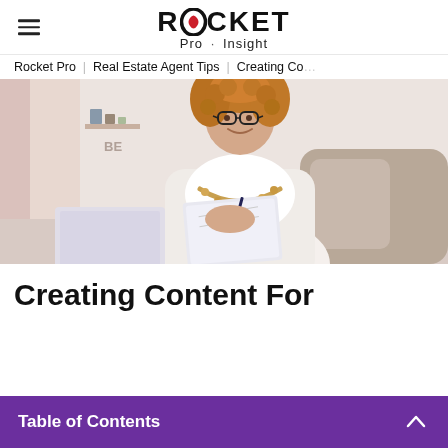ROCKET Pro · Insight
Rocket Pro | Real Estate Agent Tips | Creating Co…
[Figure (photo): Woman with curly hair and glasses, smiling, writing in a notebook, sitting on a couch with a laptop nearby]
Creating Content For
Table of Contents